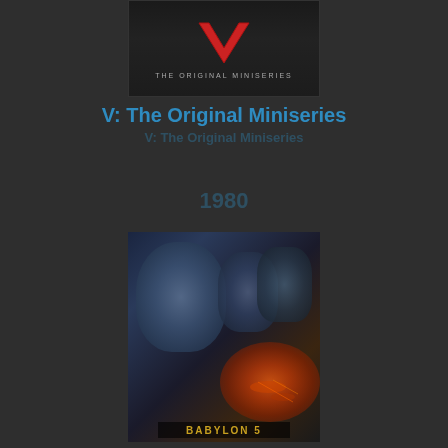[Figure (logo): V: The Original Miniseries cover art showing a red V logo on dark background with text 'THE ORIGINAL MINISERIES']
V: The Original Miniseries
(1983)
1980
[Figure (photo): Babylon 5 movie/show poster featuring three characters (two men and a woman) in blue-toned lighting with spacecraft and explosions in lower right, with 'BABYLON 5' logo at bottom]